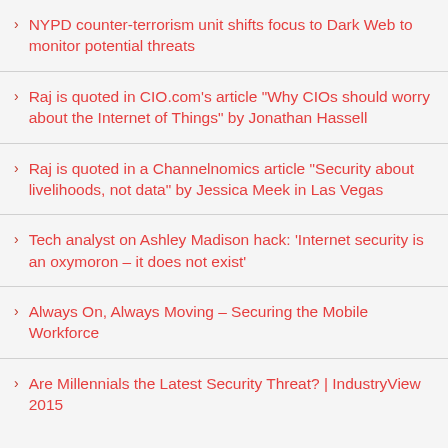NYPD counter-terrorism unit shifts focus to Dark Web to monitor potential threats
Raj is quoted in CIO.com's article “Why CIOs should worry about the Internet of Things” by Jonathan Hassell
Raj is quoted in a Channelnomics article “Security about livelihoods, not data” by Jessica Meek in Las Vegas
Tech analyst on Ashley Madison hack: ‘Internet security is an oxymoron – it does not exist’
Always On, Always Moving – Securing the Mobile Workforce
Are Millennials the Latest Security Threat? | IndustryView 2015